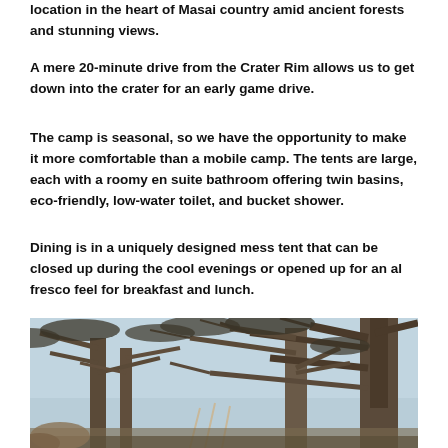location in the heart of Masai country amid ancient forests and stunning views.
A mere 20-minute drive from the Crater Rim allows us to get down into the crater for an early game drive.
The camp is seasonal, so we have the opportunity to make it more comfortable than a mobile camp. The tents are large, each with a roomy en suite bathroom offering twin basins, eco-friendly, low-water toilet, and bucket shower.
Dining is in a uniquely designed mess tent that can be closed up during the cool evenings or opened up for an al fresco feel for breakfast and lunch.
[Figure (photo): Photo looking up into the canopy of large, bare-branched acacia trees against a light blue sky, with some tent structures visible below the trees.]